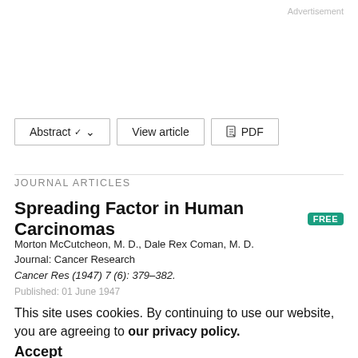Advertisement
[Figure (other): Three navigation buttons: Abstract with dropdown chevron, View article, and PDF with icon]
JOURNAL ARTICLES
Spreading Factor in Human Carcinomas
Morton McCutcheon, M. D., Dale Rex Coman, M. D.
Journal: Cancer Research
Cancer Res (1947) 7 (6): 379–382.
Published: 01 June 1947
This site uses cookies. By continuing to use our website, you are agreeing to our privacy policy. Accept